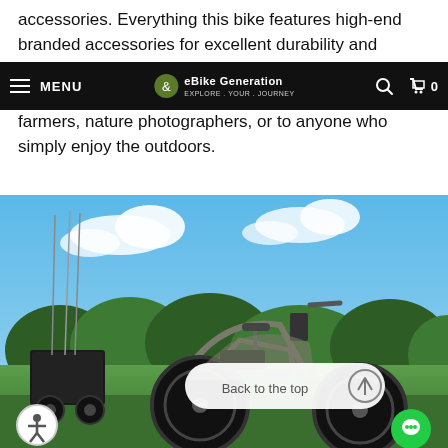accessories. Everything this bike features high-end branded accessories for excellent durability and reliability, making
[Figure (screenshot): Website navigation bar for eBike Generation with hamburger menu, logo, search icon, and cart showing 0 items]
farmers, nature photographers, or to anyone who simply enjoy the outdoors.
[Figure (photo): Outdoor photo of a fat-tire electric bike with a small trailer attached carrying fishing rods and a cooler, parked on grass with trees and sky in background. Overlay shows a 'Back to the top' button with up arrow.]